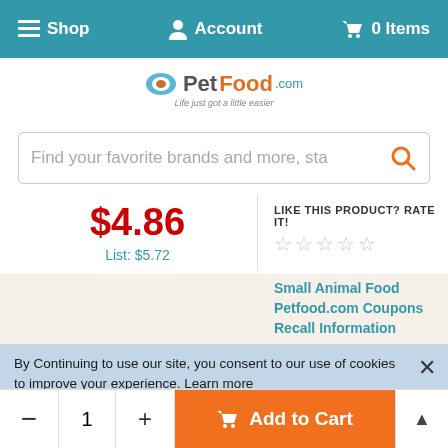Shop  Account  0 Items
[Figure (logo): PetFood.com logo with tagline 'Life just got a little easier']
Find your favorite brands and more, sta
$4.86
List: $5.72
LIKE THIS PRODUCT? RATE IT! ☆☆☆☆☆
Small Animal Food
Petfood.com Coupons
Recall Information
By Continuing to use our site, you consent to our use of cookies to improve your experience. Learn more
- 1 + Add to Cart ▲